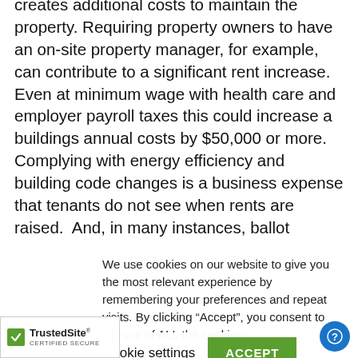creates additional costs to maintain the property. Requiring property owners to have an on-site property manager, for example, can contribute to a significant rent increase.  Even at minimum wage with health care and employer payroll taxes this could increase a buildings annual costs by $50,000 or more.   Complying with energy efficiency and building code changes is a business expense that tenants do not see when rents are raised.  And, in many instances, ballot measures supported by tenants increase operational costs without tenants realizing the outcome results in higher rents.  Both San Francisco and Oakland have similar rates for county property taxes but Oakland...
We use cookies on our website to give you the most relevant experience by remembering your preferences and repeat visits. By clicking “Accept”, you consent to the use of ALL the cookies.
Do not sell my personal information.
Cookie settings   ACCEPT